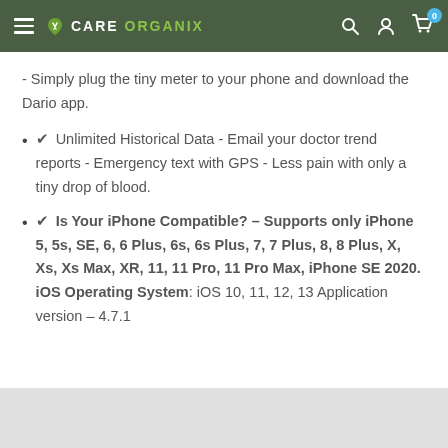CARE ORGANIX — navigation bar with hamburger menu, search, account, and cart icons
- Simply plug the tiny meter to your phone and download the Dario app.
✔ Unlimited Historical Data - Email your doctor trend reports - Emergency text with GPS - Less pain with only a tiny drop of blood.
✔ Is Your iPhone Compatible? – Supports only iPhone 5, 5s, SE, 6, 6 Plus, 6s, 6s Plus, 7, 7 Plus, 8, 8 Plus, X, Xs, Xs Max, XR, 11, 11 Pro, 11 Pro Max, iPhone SE 2020. iOS Operating System: iOS 10, 11, 12, 13 Application version – 4.7.1